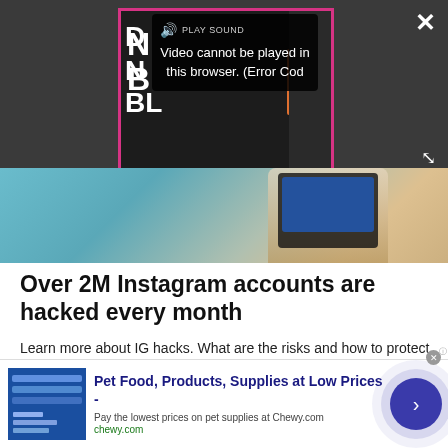[Figure (screenshot): Video player with error overlay showing 'Video cannot be played in this browser. (Error Cod' with play sound icon, pink/magenta border thumbnail, close X and expand buttons on dark background.]
Over 2M Instagram accounts are hacked every month
Learn more about IG hacks. What are the risks and how to protect yourself >>
Cyrus-Security | Sponsored
[Figure (photo): Partial photo of a dog (dark fur) on sandy/earthy ground, partially visible at bottom of page.]
Pet Food, Products, Supplies at Low Prices - Pay the lowest prices on pet supplies at Chewy.com chewy.com